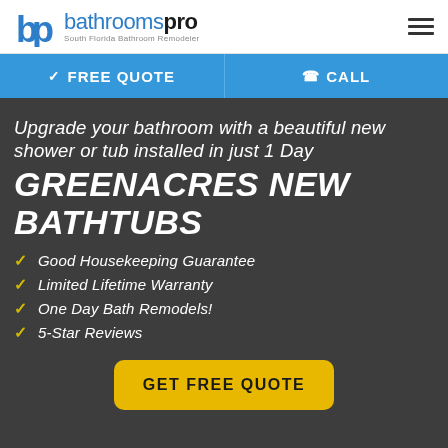[Figure (logo): BathroomsPro logo with blue 'bp' letters icon and text 'bathroomspro - South Florida Bathroom Remodeler']
✓ FREE QUOTE
☎ CALL
Upgrade your bathroom with a beautiful new shower or tub installed in just 1 Day
GREENACRES NEW BATHTUBS
Good Housekeeping Guarantee
Limited Lifetime Warranty
One Day Bath Remodels!
5-Star Reviews
GET FREE QUOTE